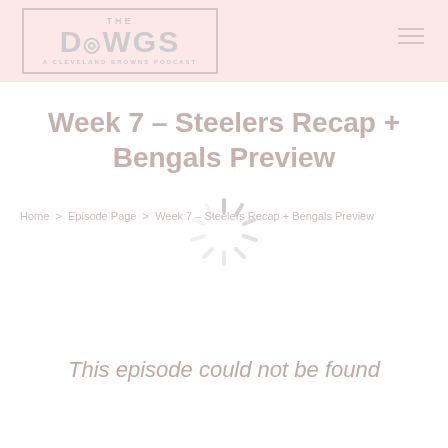[Figure (logo): The Dawgs - A Cleveland Browns Podcast logo with border]
Week 7 – Steelers Recap + Bengals Preview
Home > Episode Page > Week 7 – Steelers Recap + Bengals Preview
[Figure (other): Loading spinner graphic]
This episode could not be found